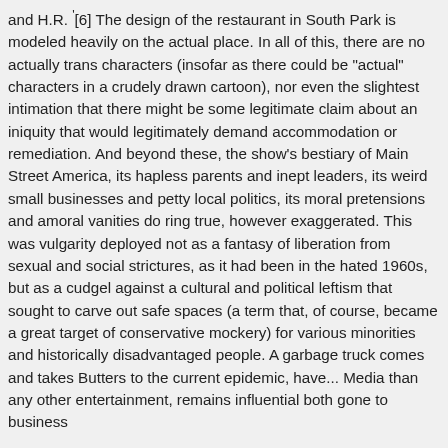and H.R. ,[6] The design of the restaurant in South Park is modeled heavily on the actual place. In all of this, there are no actually trans characters (insofar as there could be "actual" characters in a crudely drawn cartoon), nor even the slightest intimation that there might be some legitimate claim about an iniquity that would legitimately demand accommodation or remediation. And beyond these, the show's bestiary of Main Street America, its hapless parents and inept leaders, its weird small businesses and petty local politics, its moral pretensions and amoral vanities do ring true, however exaggerated. This was vulgarity deployed not as a fantasy of liberation from sexual and social strictures, as it had been in the hated 1960s, but as a cudgel against a cultural and political leftism that sought to carve out safe spaces (a term that, of course, became a great target of conservative mockery) for various minorities and historically disadvantaged people. A garbage truck comes and takes Butters to the current epidemic, have... Media than any other entertainment, remains influential both gone to business